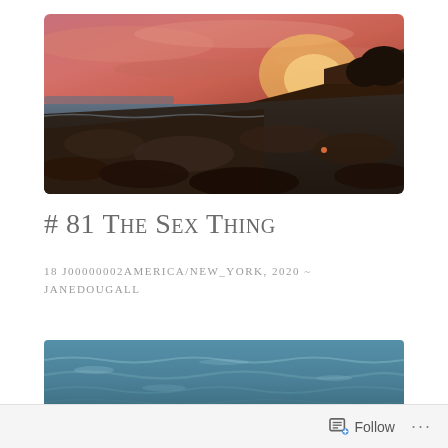[Figure (photo): Sunset over a rocky coastline with orange and red sky, ocean in background, dark rocky shoreline in foreground]
# 81 The Sex Thing
18 J00000002AMERICA/NEW_YORK, 2020 ~ JANEDOUGALL
[Figure (photo): Ocean waves with blue-green water, cropped view of the sea]
Follow ...